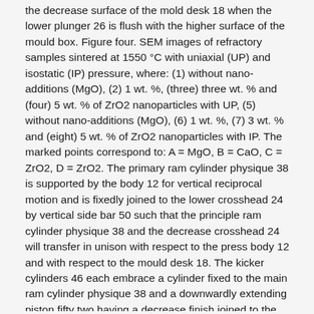the decrease surface of the mold desk 18 when the lower plunger 26 is flush with the higher surface of the mould box. Figure four. SEM images of refractory samples sintered at 1550 °C with uniaxial (UP) and isostatic (IP) pressure, where: (1) without nano-additions (MgO), (2) 1 wt. %, (three) three wt. % and (four) 5 wt. % of ZrO2 nanoparticles with UP, (5) without nano-additions (MgO), (6) 1 wt. %, (7) 3 wt. % and (eight) 5 wt. % of ZrO2 nanoparticles with IP. The marked points correspond to: A = MgO, B = CaO, C = ZrO2, D = ZrO2. The primary ram cylinder physique 38 is supported by the body 12 for vertical reciprocal motion and is fixedly joined to the lower crosshead 24 by vertical side bar 50 such that the principle ram cylinder physique 38 and the decrease crosshead 24 will transfer in unison with respect to the press body 12 and with respect to the mould desk 18. The kicker cylinders 46 each embrace a cylinder fixed to the main ram cylinder physique 38 and a downwardly extending piston fifty two having a decrease finish joined to the upper crosshead forty two.